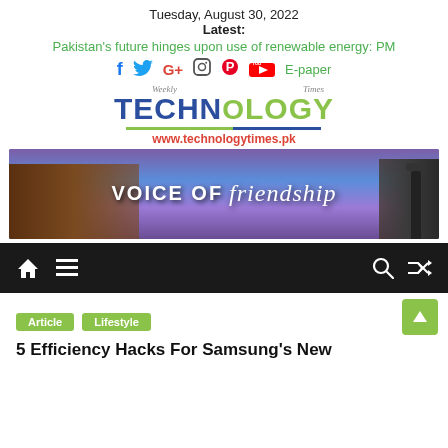Tuesday, August 30, 2022
Latest:
Pakistan's future hinges upon use of renewable energy: PM
[Figure (other): Social media icons: Facebook, Twitter, Google+, Instagram, Pinterest, YouTube, and E-paper link]
[Figure (logo): Weekly Technology Times logo with www.technologytimes.pk URL]
[Figure (photo): Banner image with text VOICE OF friendship overlaid on a scenic photo]
[Figure (other): Navigation bar with home, menu, search, and shuffle icons]
Article   Lifestyle
5 Efficiency Hacks For Samsung's New